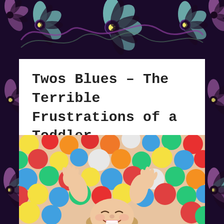[Figure (illustration): Decorative dark floral/mandala border pattern with purple, teal, and dark brown colors surrounding the page]
Twos Blues – The Terrible Frustrations of a Toddler
[Figure (photo): A laughing toddler child surrounded by colorful plastic balls in a ball pit, with red, blue, yellow, green, orange, and white balls filling the frame]